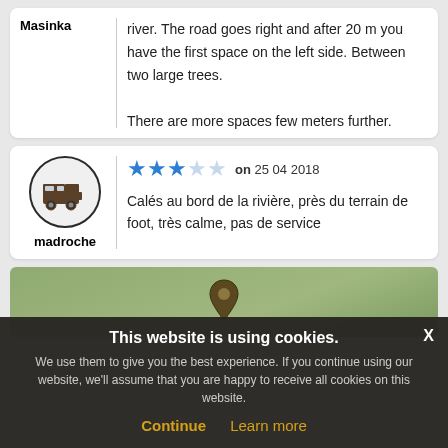Masinka
river. The road goes right and after 20 m you have the first space on the left side. Between two large trees. There are more spaces few meters further. Amazing views, clean toilets :)
[Figure (illustration): Motorhome/camper van icon inside a circle, used as reviewer avatar]
madroche
3 out of 5 stars rating on 25 04 2018
Calés au bord de la rivière, près du terrain de foot, très calme, pas de service
[Figure (illustration): Map with location pin and plus icon]
This website is using cookies.
We use them to give you the best experience. If you continue using our website, we'll assume that you are happy to receive all cookies on this website.
Continue   Learn more